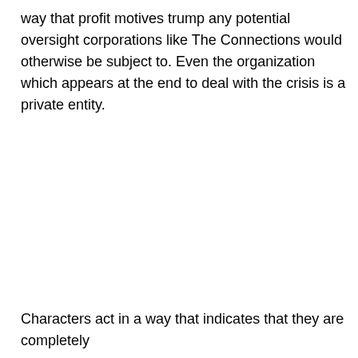way that profit motives trump any potential oversight corporations like The Connections would otherwise be subject to. Even the organization which appears at the end to deal with the crisis is a private entity.
Characters act in a way that indicates that they are completely